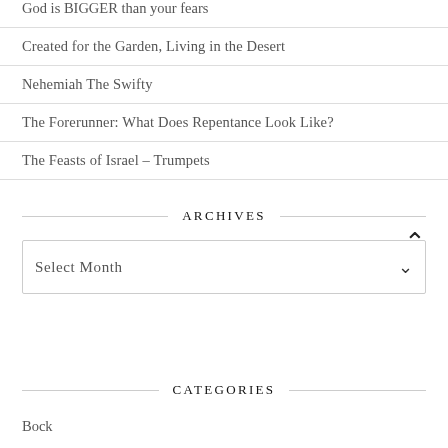God is BIGGER than your fears
Created for the Garden, Living in the Desert
Nehemiah The Swifty
The Forerunner: What Does Repentance Look Like?
The Feasts of Israel – Trumpets
ARCHIVES
Select Month
CATEGORIES
Bock